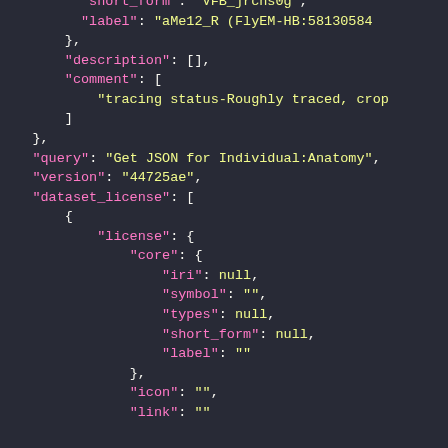[Figure (screenshot): JSON code snippet shown in a dark-themed code editor. Shows JSON fields including short_form, label (aMe12_R FlyEM-HB:58130584), description, comment (tracing status-Roughly traced, crop...), query (Get JSON for Individual:Anatomy), version (44725ae), dataset_license array with license object containing core object with iri: null, symbol: empty string, types: null, short_form: null, label: empty string, then icon and link fields.]